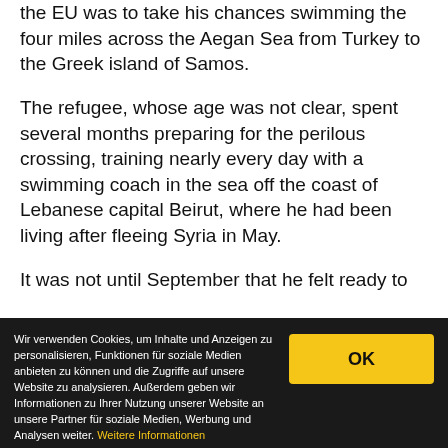the EU was to take his chances swimming the four miles across the Aegan Sea from Turkey to the Greek island of Samos.
The refugee, whose age was not clear, spent several months preparing for the perilous crossing, training nearly every day with a swimming coach in the sea off the coast of Lebanese capital Beirut, where he had been living after fleeing Syria in May.
It was not until September that he felt ready to
Wir verwenden Cookies, um Inhalte und Anzeigen zu personalisieren, Funktionen für soziale Medien anbieten zu können und die Zugriffe auf unsere Website zu analysieren. Außerdem geben wir Informationen zu Ihrer Nutzung unserer Website an unsere Partner für soziale Medien, Werbung und Analysen weiter. Weitere Informationen